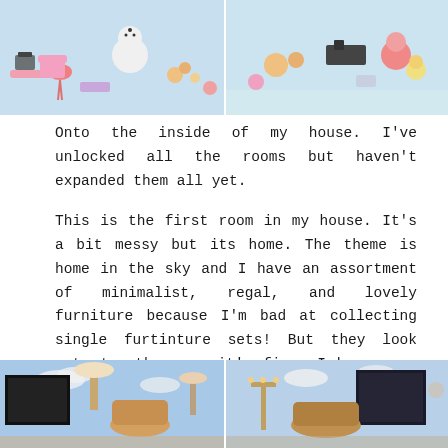[Figure (photo): Two side-by-side screenshots from a video game showing colorful figurines and decorations on a light blue/pink background. Left shows snowman, flamingos and various items; right shows similar cute game characters and items.]
Onto the inside of my house. I've unlocked all the rooms but haven't expanded them all yet.
This is the first room in my house. It's a bit messy but its home. The theme is home in the sky and I have an assortment of minimalist, regal, and lovely furniture because I'm bad at collecting single furtinture sets! But they look cute together, so it's fine. I have some other bits and pieces such as the mermaid sofa (my fav), a balloon lamp, typewriter, Mr & Mrs Flamingo, and lucky cats.
[Figure (photo): Two side-by-side screenshots from a video game showing an interior room with sky-themed wallpaper (clouds and blue sky). Left shows various furniture items including a lamp and decorative pieces; right shows a darker room with furniture.]